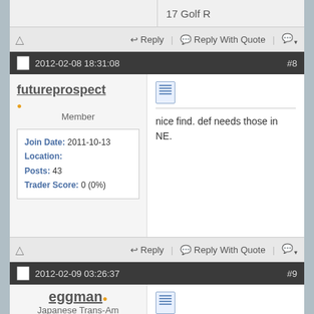17 Golf R
⚠ Reply | Reply With Quote | 🔤
2012-02-08 18:31:08  #8
futureprospect
Member
| Join Date: | 2011-10-13 |
| Location: |  |
| Posts: | 43 |
| Trader Score: | 0 (0%) |
nice find. def needs those in NE.
0 Likes
Be the first to like this post.
⚠ Reply | Reply With Quote | 🔤
2012-02-09 03:26:37  #9
eggman
Japanese Trans-Am
looks like a ripoff to me.Just a flatpeice of rubber that you could cut out yourself.